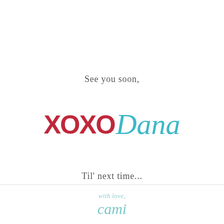See you soon,
[Figure (illustration): XOXO Dana signature logo — 'XOXO' in bold red/crimson and 'Dana' in teal cursive script]
Til' next time...
with love cami